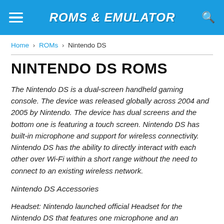ROMS & EMULATOR
Home › ROMs › Nintendo DS
NINTENDO DS ROMS
The Nintendo DS is a dual-screen handheld gaming console. The device was released globally across 2004 and 2005 by Nintendo. The device has dual screens and the bottom one is featuring a touch screen. Nintendo DS has built-in microphone and support for wireless connectivity. Nintendo DS has the ability to directly interact with each other over Wi-Fi within a short range without the need to connect to an existing wireless network.
Nintendo DS Accessories
Headset: Nintendo launched official Headset for the Nintendo DS that features one microphone and an